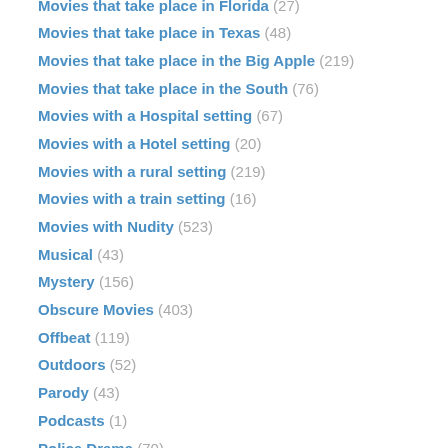Movies that take place in Florida (27)
Movies that take place in Texas (48)
Movies that take place in the Big Apple (219)
Movies that take place in the South (76)
Movies with a Hospital setting (67)
Movies with a Hotel setting (20)
Movies with a rural setting (219)
Movies with a train setting (16)
Movies with Nudity (523)
Musical (43)
Mystery (156)
Obscure Movies (403)
Offbeat (119)
Outdoors (52)
Parody (43)
Podcasts (1)
Police Drama (70)
Political Thrillers (15)
Prison Flicks (27)
Psychological (77)